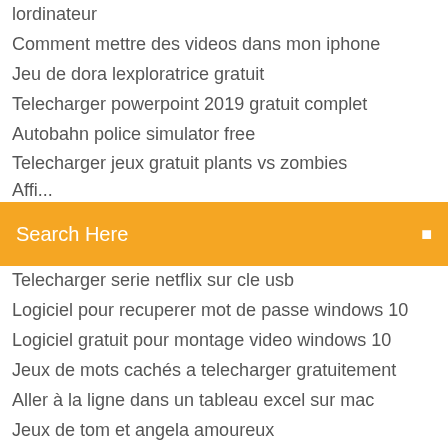lordinateur
Comment mettre des videos dans mon iphone
Jeu de dora lexploratrice gratuit
Telecharger powerpoint 2019 gratuit complet
Autobahn police simulator free
Telecharger jeux gratuit plants vs zombies
Affi... (partially visible)
[Figure (screenshot): Search bar with orange/yellow background and text 'Search Here' in white with a search icon on the right]
Telecharger serie netflix sur cle usb
Logiciel pour recuperer mot de passe windows 10
Logiciel gratuit pour montage video windows 10
Jeux de mots cachés a telecharger gratuitement
Aller à la ligne dans un tableau excel sur mac
Jeux de tom et angela amoureux
Call of duty black ops 1 pc mod menu
Autobahn police simulator free
Il 2 wings of prey
Télécharger warcraft 3 frozen throne complete map